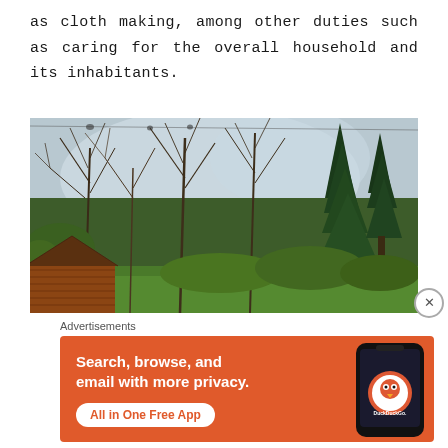as cloth making, among other duties such as caring for the overall household and its inhabitants.
[Figure (photo): Outdoor scene with bare deciduous trees and evergreen trees in background, with a wooden log cabin or shed in the lower left foreground, set in a grassy clearing.]
Advertisements
[Figure (screenshot): DuckDuckGo advertisement banner with orange background. Text reads: Search, browse, and email with more privacy. All in One Free App. Shows a smartphone displaying the DuckDuckGo app icon.]